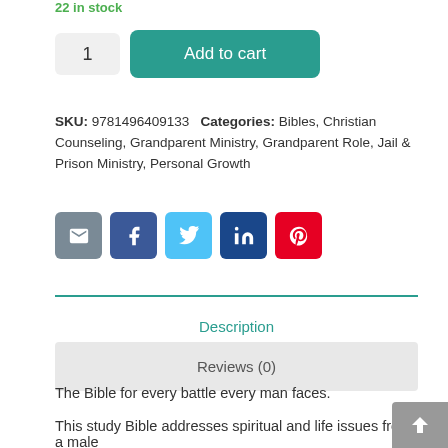22 in stock
1  Add to cart
SKU: 9781496409133  Categories: Bibles, Christian Counseling, Grandparent Ministry, Grandparent Role, Jail & Prison Ministry, Personal Growth
[Figure (other): Social share buttons: email (gray), Facebook (blue), Twitter (light blue), LinkedIn (dark blue), Pinterest (red)]
Description
Reviews (0)
The Bible for every battle every man faces.
This study Bible addresses spiritual and life issues from a male